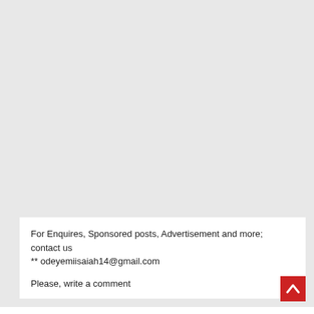For Enquires, Sponsored posts, Advertisement and more; contact us ** odeyemiisaiah14@gmail.com
Please, write a comment